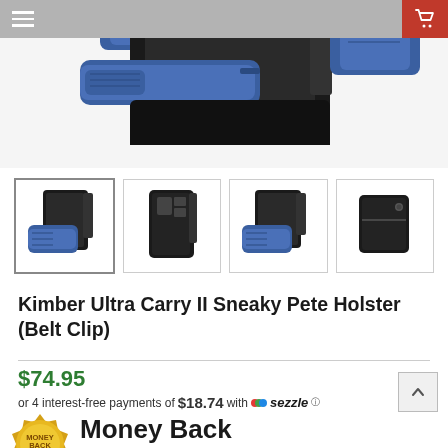[Figure (screenshot): Navigation bar with hamburger menu on left and red shopping cart icon on right]
[Figure (photo): Main product photo showing a black leather holster with a blue training pistol, photographed against white background, partial crop showing top portion]
[Figure (photo): Thumbnail strip showing 4 product photos: (1) holster with blue gun front view selected, (2) holster alone front view, (3) holster with blue gun alternate angle, (4) closed holster wallet view]
Kimber Ultra Carry II Sneaky Pete Holster (Belt Clip)
$74.95
or 4 interest-free payments of $18.74 with sezzle
[Figure (logo): Money Back 60 day guarantee badge - gold circular seal with '60' in center]
Money Back